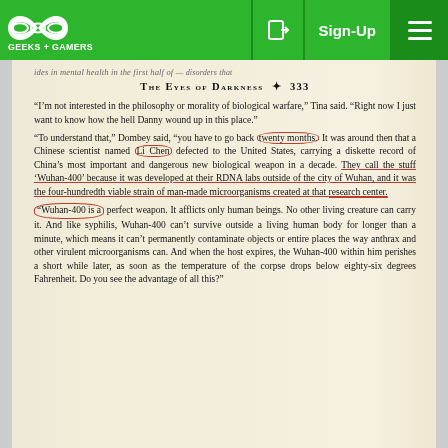Geeks + Gamers website navigation bar with Sign-Up button and menu
[Figure (screenshot): Screenshot of a book page from 'The Eyes of Darkness' showing text about 'Wuhan-400' biological weapon, with red circles and underlines highlighting key phrases]
THE EYES OF DARKNESS ✦ 333
"I'm not interested in the philosophy or morality of biological warfare," Tina said. "Right now I just want to know how the hell Danny wound up in this place."
"To understand that," Dombey said, "you have to go back twenty months. It was around then that a Chinese scientist named Li Chen defected to the United States, carrying a diskette record of China's most important and dangerous new biological weapon in a decade. They call the stuff 'Wuhan-400' because it was developed at their RDNA labs outside of the city of Wuhan, and it was the four-hundredth viable strain of man-made microorganisms created at that research center.
"Wuhan-400 is a perfect weapon. It afflicts only human beings. No other living creature can carry it. And like syphilis, Wuhan-400 can't survive outside a living human body for longer than a minute, which means it can't permanently contaminate objects or entire places the way anthrax and other virulent microorganisms can. And when the host expires, the Wuhan-400 within him perishes a short while later, as soon as the temperature of the corpse drops below eighty-six degrees Fahrenheit. Do you see the advantage of all this?"